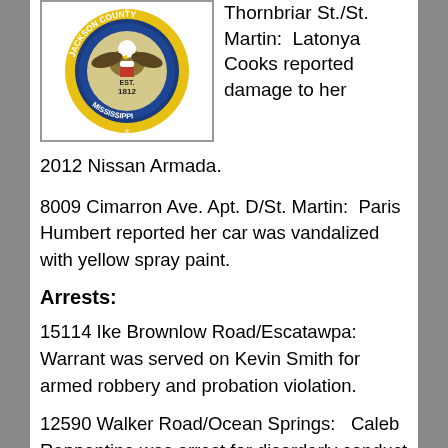[Figure (logo): Jackson County, Mississippi official seal/badge — circular badge with yellow/gold border, blue center, EST. 1812 text, eagle graphic]
Thornbriar St./St. Martin:  Latonya Cooks reported damage to her 2012 Nissan Armada.
8009 Cimarron Ave. Apt. D/St. Martin:  Paris Humbert reported her car was vandalized with yellow spray paint.
Arrests:
15114 Ike Brownlow Road/Escatawpa:   Warrant was served on Kevin Smith for armed robbery and probation violation.
12590 Walker Road/Ocean Springs:   Caleb Reppentine was arrest for disorderly conduct failure to comply and resisting arrest.
8000 Tucker Road, North Circle K/St. Martin:  Tyrese